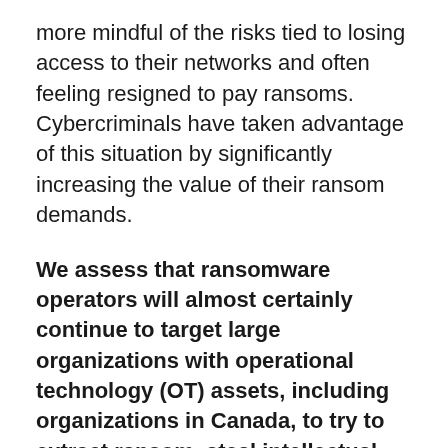more mindful of the risks tied to losing access to their networks and often feeling resigned to pay ransoms. Cybercriminals have taken advantage of this situation by significantly increasing the value of their ransom demands.
We assess that ransomware operators will almost certainly continue to target large organizations with operational technology (OT) assets, including organizations in Canada, to try to extract ransom, steal intellectual property and proprietary business information, and to in...